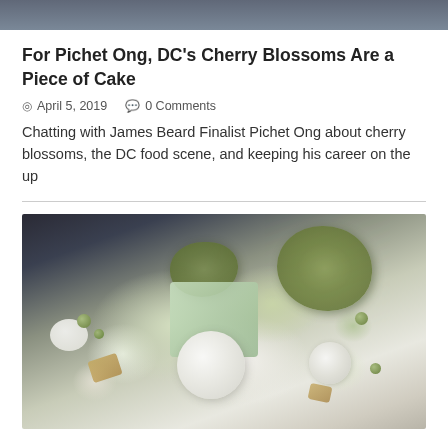[Figure (photo): Top portion of a food/restaurant article hero image, appears to be a dark toned restaurant or food scene]
For Pichet Ong, DC's Cherry Blossoms Are a Piece of Cake
April 5, 2019   0 Comments
Chatting with James Beard Finalist Pichet Ong about cherry blossoms, the DC food scene, and keeping his career on the up
[Figure (photo): A plated dessert on a white plate featuring pale green gelatin or cake pieces topped with green crumble/matcha topping, white ice cream or sorbet scoops, small green spheres, and golden cake crumbles arranged artistically]